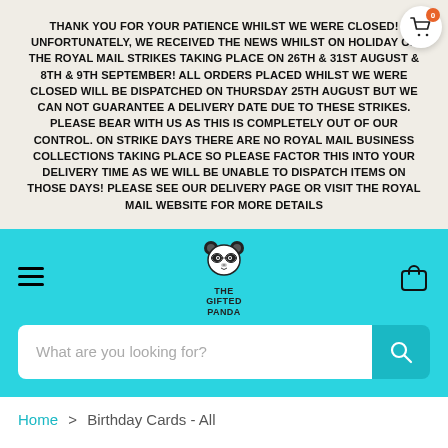THANK YOU FOR YOUR PATIENCE WHILST WE WERE CLOSED! UNFORTUNATELY, WE RECEIVED THE NEWS WHILST ON HOLIDAY OF THE ROYAL MAIL STRIKES TAKING PLACE ON 26TH & 31ST AUGUST & 8TH & 9TH SEPTEMBER! ALL ORDERS PLACED WHILST WE WERE CLOSED WILL BE DISPATCHED ON THURSDAY 25TH AUGUST BUT WE CAN NOT GUARANTEE A DELIVERY DATE DUE TO THESE STRIKES. PLEASE BEAR WITH US AS THIS IS COMPLETELY OUT OF OUR CONTROL. ON STRIKE DAYS THERE ARE NO ROYAL MAIL BUSINESS COLLECTIONS TAKING PLACE SO PLEASE FACTOR THIS INTO YOUR DELIVERY TIME AS WE WILL BE UNABLE TO DISPATCH ITEMS ON THOSE DAYS! PLEASE SEE OUR DELIVERY PAGE OR VISIT THE ROYAL MAIL WEBSITE FOR MORE DETAILS
[Figure (logo): The Gifted Panda logo — panda illustration with glasses above the text THE GIFTED PANDA]
What are you looking for?
Home > Birthday Cards - All